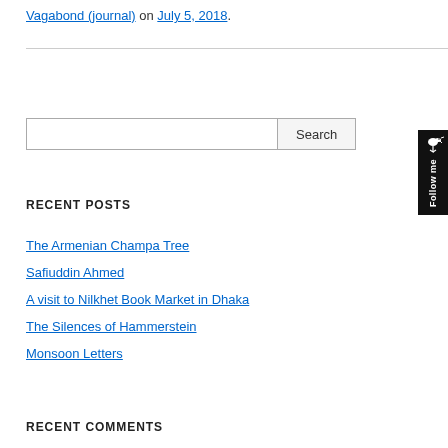Vagabond (journal) on July 5, 2018.
RECENT POSTS
The Armenian Champa Tree
Safiuddin Ahmed
A visit to Nilkhet Book Market in Dhaka
The Silences of Hammerstein
Monsoon Letters
RECENT COMMENTS